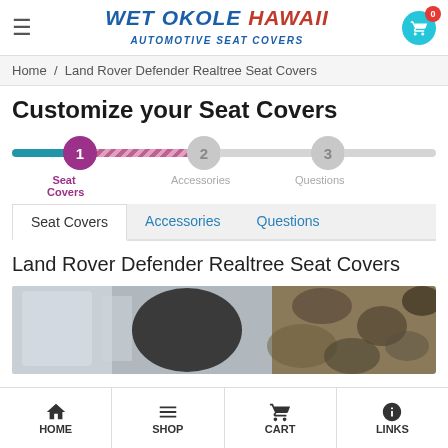WET OKOLE HAWAII AUTOMOTIVE SEAT COVERS
Home / Land Rover Defender Realtree Seat Covers
Customize your Seat Covers
1 Seat Covers  2 Accessories  3 Questions
Seat Covers  Accessories  Questions
Land Rover Defender Realtree Seat Covers
[Figure (photo): Product photo showing Land Rover Defender seat with Realtree camo seat cover]
HOME  SHOP  CART  LINKS